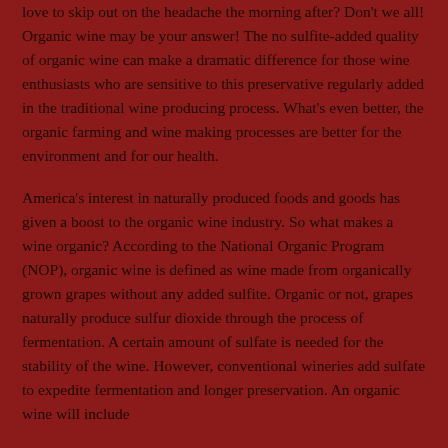love to skip out on the headache the morning after? Don't we all! Organic wine may be your answer! The no sulfite-added quality of organic wine can make a dramatic difference for those wine enthusiasts who are sensitive to this preservative regularly added in the traditional wine producing process. What's even better, the organic farming and wine making processes are better for the environment and for our health.
America's interest in naturally produced foods and goods has given a boost to the organic wine industry. So what makes a wine organic? According to the National Organic Program (NOP), organic wine is defined as wine made from organically grown grapes without any added sulfite. Organic or not, grapes naturally produce sulfur dioxide through the process of fermentation. A certain amount of sulfate is needed for the stability of the wine. However, conventional wineries add sulfate to expedite fermentation and longer preservation. An organic wine will include